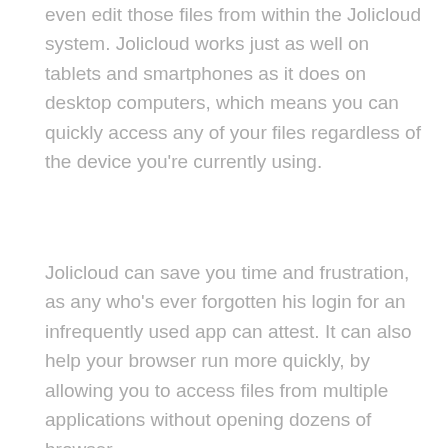even edit those files from within the Jolicloud system. Jolicloud works just as well on tablets and smartphones as it does on desktop computers, which means you can quickly access any of your files regardless of the device you're currently using.
Jolicloud can save you time and frustration, as any who's ever forgotten his login for an infrequently used app can attest. It can also help your browser run more quickly, by allowing you to access files from multiple applications without opening dozens of browser